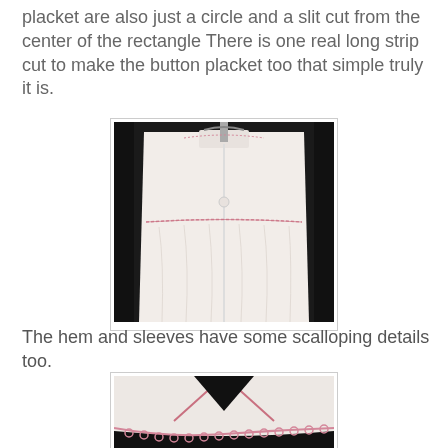placket are also just a circle and a slit cut from the center of the rectangle There is one real long strip cut to make the button placket too that simple truly it is.
[Figure (photo): White fabric garment (child's dress or blouse) hanging on a hanger against dark background, showing front with button placket and pink embroidered/stitched horizontal seam detail at yoke.]
The hem and sleeves have some scalloping details too.
[Figure (photo): Close-up of white fabric hem with pink crocheted or tatted scalloped lace trim along the curved edge, against dark background.]